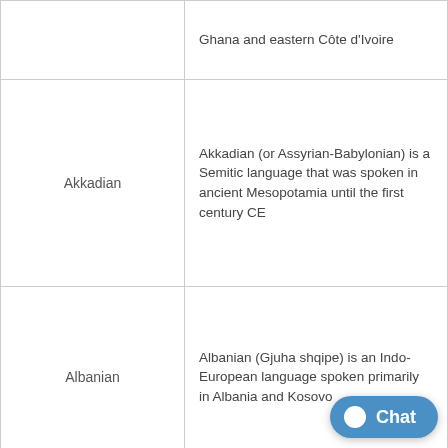| Language | Description |
| --- | --- |
|  | Ghana and eastern Côte d'Ivoire |
| Akkadian | Akkadian (or Assyrian-Babylonian) is a Semitic language that was spoken in ancient Mesopotamia until the first century CE |
| Albanian | Albanian (Gjuha shqipe) is an Indo-European language spoken primarily in Albania and Kosovo |
|  | Aleut (Unanga Tunuu) is a language of the |